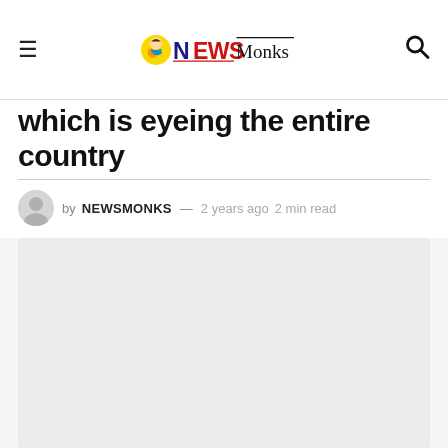NewsMonks
which is eyeing the entire country
by NEWSMONKS — 2 years ago 2 min read
[Figure (photo): Light gray image placeholder area]